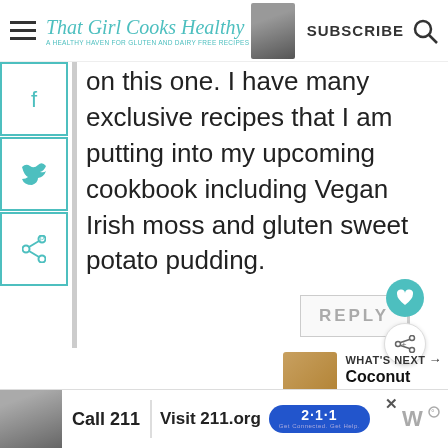That Girl Cooks Healthy — SUBSCRIBE
on this one. I have many exclusive recipes that I am putting into my upcoming cookbook including Vegan Irish moss and gluten sweet potato pudding.
REPLY
WHAT'S NEXT → Coconut Drops...
Ceil   December 18, 2016 at 6:53 pm
Call 211 | Visit 211.org 2·1·1